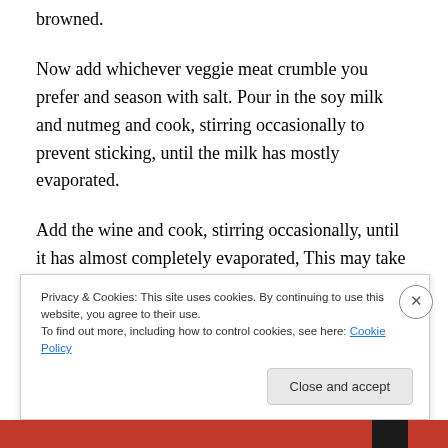browned.
Now add whichever veggie meat crumble you prefer and season with salt. Pour in the soy milk and nutmeg and cook, stirring occasionally to prevent sticking, until the milk has mostly evaporated.
Add the wine and cook, stirring occasionally, until it has almost completely evaporated, This may take up to 30 minutes. Dump in the entire can of tomatoes, juice and all, and the tomato paste. Stir the pot to combine everything well. Once the tomatoes have started bubbling, reduce the heat to the
Privacy & Cookies: This site uses cookies. By continuing to use this website, you agree to their use.
To find out more, including how to control cookies, see here: Cookie Policy
Close and accept